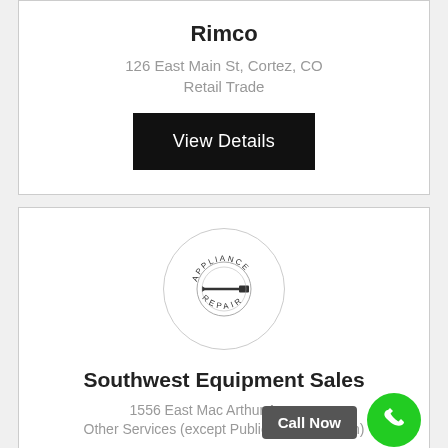Rimco
126 East Main St, Cortez, CO
Retail Trade
View Details
[Figure (logo): Appliance Repair circular stamp logo with screwdriver icon]
Southwest Equipment Sales
1556 East Mac Arthur Avenue,
Other Services (except Public Administration)
Call Now